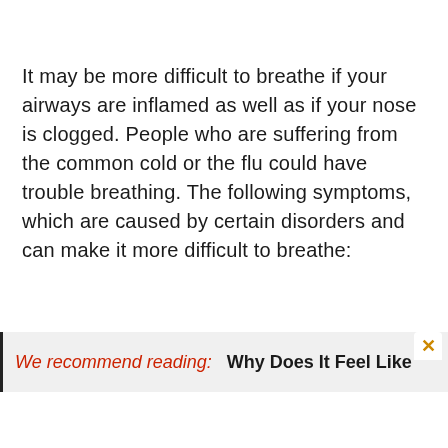It may be more difficult to breathe if your airways are inflamed as well as if your nose is clogged. People who are suffering from the common cold or the flu could have trouble breathing. The following symptoms, which are caused by certain disorders and can make it more difficult to breathe:
We recommend reading:  Why Does It Feel Like